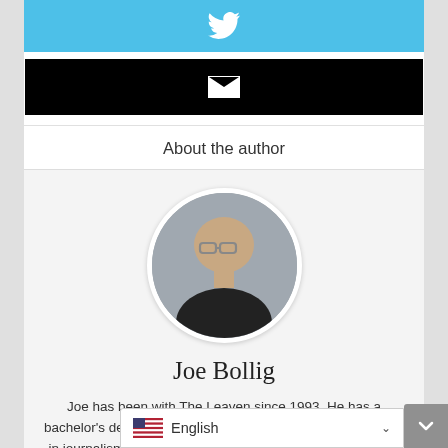[Figure (other): Twitter social media button with white bird icon on light blue background]
[Figure (other): Email button with white envelope icon on black background]
About the author
[Figure (photo): Circular headshot photo of Joe Bollig, a middle-aged man with glasses wearing a dark shirt, gray background]
Joe Bollig
Joe has been with The Leaven since 1993. He has a bachelor's degree in communications and a master's degree in journalism. Before entering print journalism he worked in commercial radio. H Joseph (Mo.) News-Press and S